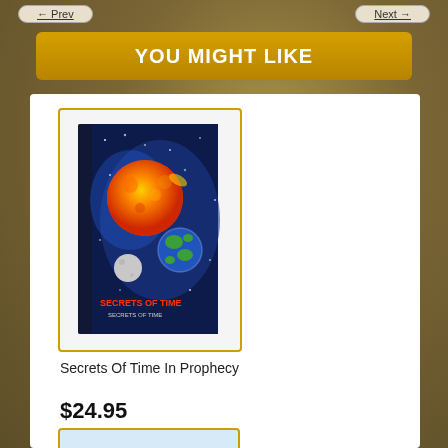Prev   Next
YOU MIGHT LIKE
[Figure (photo): Book cover of 'Secrets of Time In Prophecy' showing space imagery with sun, earth, and moon against a starry blue background]
Secrets Of Time In Prophecy
$24.95
[Figure (photo): Book cover with light blue background showing text 'Bible Laws']